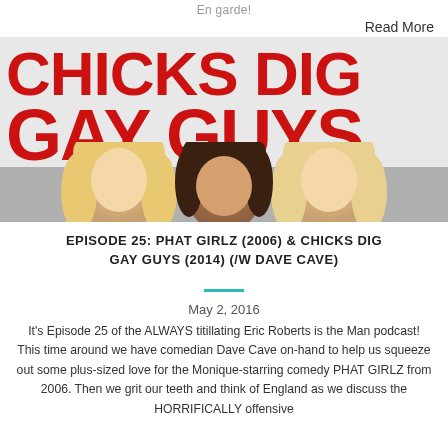En garde!
Read More
[Figure (photo): Movie poster for 'Chicks Dig Gay Guys' showing large red bold text 'CHICKS DIG GAY GUYS' with three people (two blonde women and a man) peeking from the bottom.]
EPISODE 25: PHAT GIRLZ (2006) & CHICKS DIG GAY GUYS (2014) (/W DAVE CAVE)
May 2, 2016
It's Episode 25 of the ALWAYS titillating Eric Roberts is the Man podcast! This time around we have comedian Dave Cave on-hand to help us squeeze out some plus-sized love for the Monique-starring comedy PHAT GIRLZ from 2006. Then we grit our teeth and think of England as we discuss the HORRIFICALLY offensive